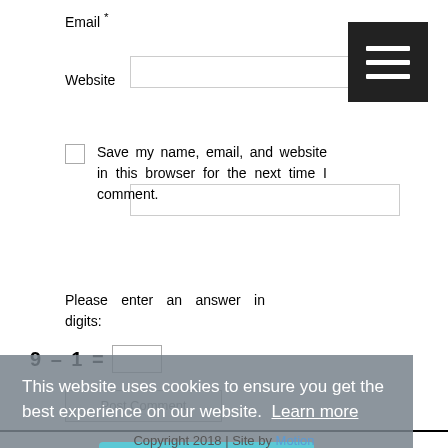Email *
Website
Save my name, email, and website in this browser for the next time I comment.
Please enter an answer in digits:
Post Comment
This website uses cookies to ensure you get the best experience on our website. Learn more
Got it!
About the SAHB | Contact the SAHB | Sources & Links
Copyright 2018 | Site by Motion